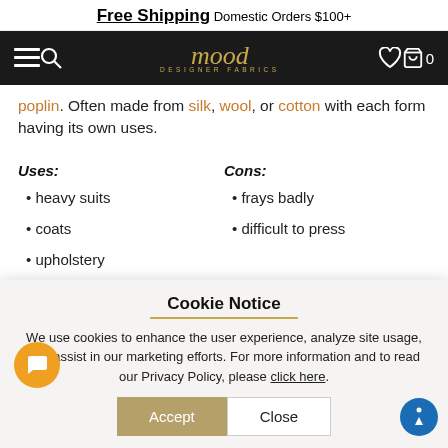Free Shipping Domestic Orders $100+
mood designer fabrics navigation bar
poplin. Often made from silk, wool, or cotton with each form having its own uses.
Uses:
Cons:
• heavy suits
• frays badly
• coats
• difficult to press
• upholstery
• draperies
Cookie Notice
We use cookies to enhance the user experience, analyze site usage, and assist in our marketing efforts. For more information and to read our Privacy Policy, please click here.
Accept  Close